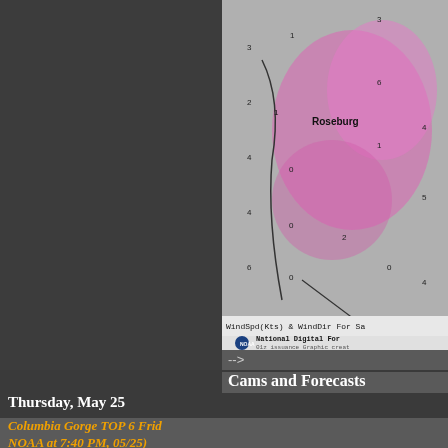[Figure (map): Weather map showing wind speed (Kts) and wind direction with pink/magenta shading over Oregon region near Roseburg. NOAA National Digital Forecast graphic, 01z issuance.]
-->
Cams and Forecasts
Jump to...
More info: 30knotwind
No comments:
Thursday, May 25
Columbia Gorge TOP 6 Friday NOAA at 7:40 PM, 05/25)